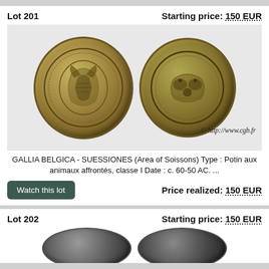Lot 201
Starting price: 150 EUR
[Figure (photo): Two ancient bronze/gold Celtic coins (Gallia Belgica) shown obverse and reverse, with copyright watermark © http://www.cgb.fr]
© http://www.cgb.fr
GALLIA BELGICA - SUESSIONES (Area of Soissons) Type : Potin aux animaux affrontés, classe I Date : c. 60-50 AC. ...
Watch this lot
Price realized: 150 EUR
Lot 202
Starting price: 150 EUR
[Figure (photo): Two ancient dark bronze Celtic coins partially visible at page bottom]